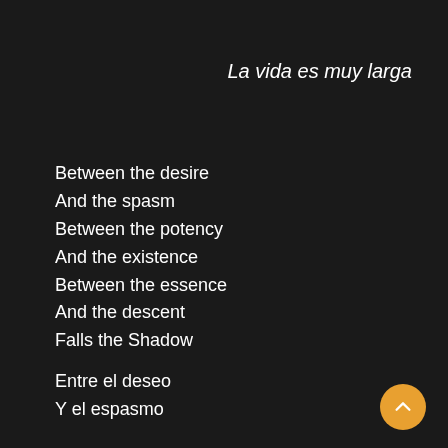La vida es muy larga
Between the desire
And the spasm
Between the potency
And the existence
Between the essence
And the descent
Falls the Shadow
Entre el deseo
Y el espasmo